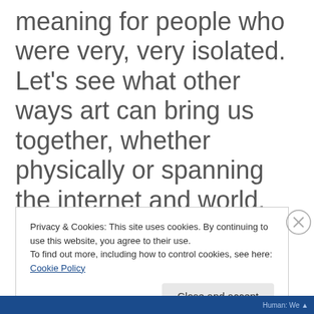meaning for people who were very, very isolated. Let's see what other ways art can bring us together, whether physically or spanning the internet and world.
Privacy & Cookies: This site uses cookies. By continuing to use this website, you agree to their use.
To find out more, including how to control cookies, see here: Cookie Policy